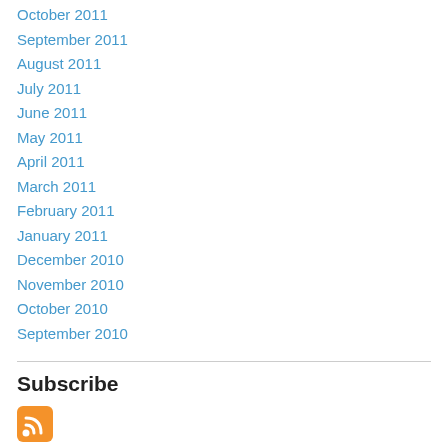October 2011
September 2011
August 2011
July 2011
June 2011
May 2011
April 2011
March 2011
February 2011
January 2011
December 2010
November 2010
October 2010
September 2010
Subscribe
[Figure (logo): RSS feed icon — orange rounded square with white radio wave symbol]